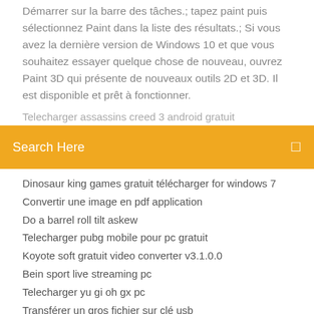Démarrer sur la barre des tâches.; tapez paint puis sélectionnez Paint dans la liste des résultats.; Si vous avez la dernière version de Windows 10 et que vous souhaitez essayer quelque chose de nouveau, ouvrez Paint 3D qui présente de nouveaux outils 2D et 3D. Il est disponible et prêt à fonctionner.
Telecharger assassins creed 3 android gratuit
[Figure (screenshot): Orange search bar with text 'Search Here' and a small search icon on the right]
Dinosaur king games gratuit télécharger for windows 7
Convertir une image en pdf application
Do a barrel roll tilt askew
Telecharger pubg mobile pour pc gratuit
Koyote soft gratuit video converter v3.1.0.0
Bein sport live streaming pc
Telecharger yu gi oh gx pc
Transférer un gros fichier sur clé usb
Comment faire des video sur pc gratuit
Supprimer plusieurs photos facebook en même temps